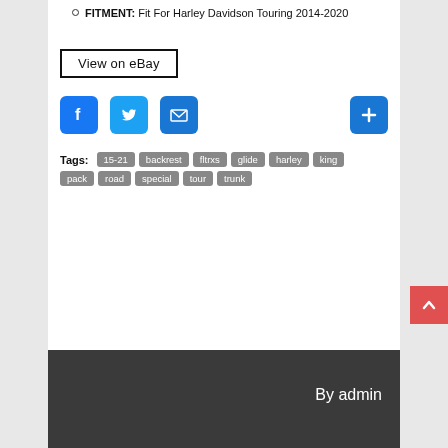FITMENT: Fit For Harley Davidson Touring 2014-2020
View on eBay
[Figure (infographic): Social share buttons: Facebook (blue), Twitter (light blue), Email (blue), and a plus (+) button on the right]
Tags: 15-21, backrest, fltrxs, glide, harley, king, pack, road, special, tour, trunk
By admin